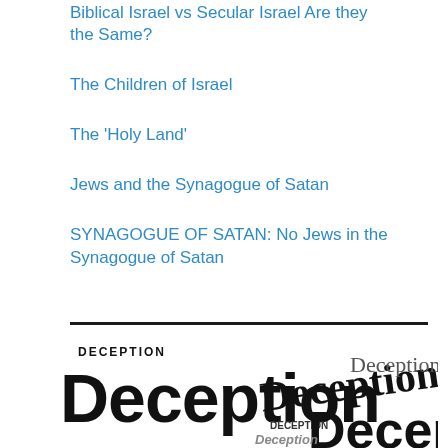Biblical Israel vs Secular Israel Are they the Same?
The Children of Israel
The 'Holy Land'
Jews and the Synagogue of Satan
SYNAGOGUE OF SATAN: No Jews in the Synagogue of Satan
[Figure (illustration): Word cloud / collage of the word 'Deception' in various fonts and sizes, overlapping, in black and grey on white background]